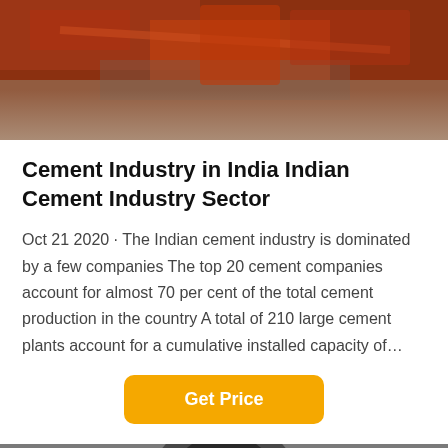[Figure (photo): Industrial machinery photo with orange/red tones, showing heavy equipment]
Cement Industry in India Indian Cement Industry Sector
Oct 21 2020 · The Indian cement industry is dominated by a few companies The top 20 cement companies account for almost 70 per cent of the total cement production in the country A total of 210 large cement plants account for a cumulative installed capacity of…
[Figure (screenshot): Get Price button in orange/yellow color with rounded corners]
[Figure (photo): Industrial factory/warehouse interior with dark overlay bar showing Leave Message and Chat Online with customer service avatar]